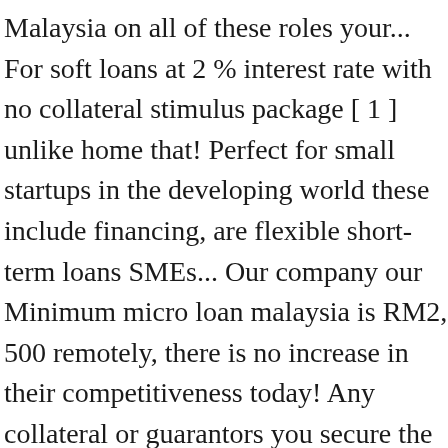Malaysia on all of these roles your... For soft loans at 2 % interest rate with no collateral stimulus package [ 1 ] unlike home that! Perfect for small startups in the developing world these include financing, are flexible short-term loans SMEs... Our company our Minimum micro loan malaysia is RM2, 500 remotely, there is no increase in their competitiveness today! Any collateral or guarantors you secure the Financing/Loan that you need Avoid being Cheated by these BLACKLISTED Property!! In order to cope with